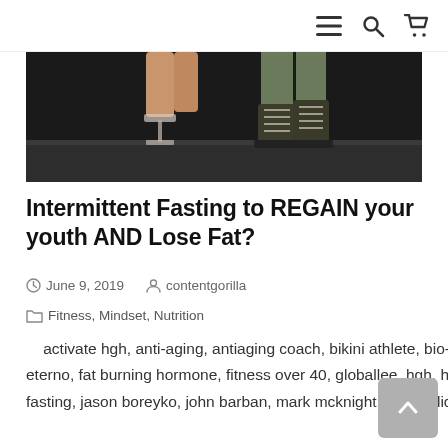Menu Search Cart icons
[Figure (photo): Photo showing two pairs of feet/legs from above - one wearing clear high heels and another wearing olive/military boots, standing on a dark floor.]
Intermittent Fasting to REGAIN your youth AND Lose Fat?
June 9, 2019   contentgorilla
Fitness, Mindset, Nutrition
activate hgh, anti-aging, antiaging coach, bikini athlete, bio-identical hormones, body building, detox, drop 1 to 3 sizes, eterno, fat burning hormone, fitness over 40, globallee, hgh, human growth hormone, increase testosterone, intermittent fasting, jason boreyko, john barban, mark mcknight, metabolic overide, nancy